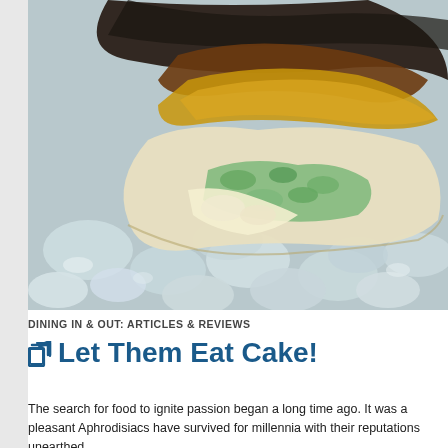[Figure (photo): Close-up photograph of a cooked oyster on the half shell topped with green herb sauce, served on crushed ice.]
DINING IN & OUT: ARTICLES & REVIEWS
Let Them Eat Cake!
The search for food to ignite passion began a long time ago. It was a pleasant Aphrodisiacs have survived for millennia with their reputations unearthed...